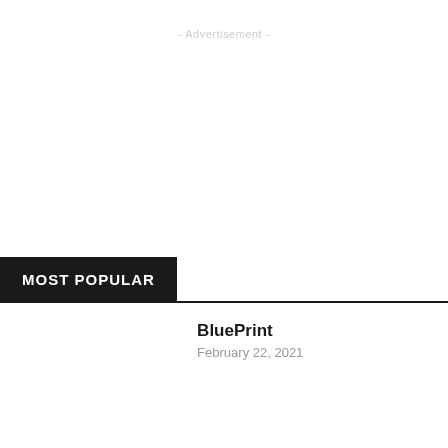- Advertisement -
MOST POPULAR
BluePrint
February 22, 2021